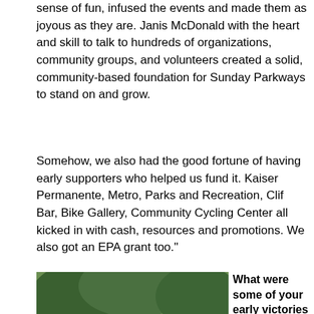sense of fun, infused the events and made them as joyous as they are. Janis McDonald with the heart and skill to talk to hundreds of organizations, community groups, and volunteers created a solid, community-based foundation for Sunday Parkways to stand on and grow.
Somehow, we also had the good fortune of having early supporters who helped us fund it. Kaiser Permanente, Metro, Parks and Recreation, Clif Bar, Bike Gallery, Community Cycling Center all kicked in with cash, resources and promotions. We also got an EPA grant too."
[Figure (photo): Two people playing outdoors on grass in a park, with a crowd of people sitting and standing in the background among trees. One person in a purple shirt and one in a white shirt appear to be playing a game or doing an activity.]
What were some of your early victories that you didn't expect?
"Well, I didn't think that 15,000 people would come! I was absolutely blown away. I had been telling people in the beginning that we would have about
3,500 people I thought that...we started to let the data in...A